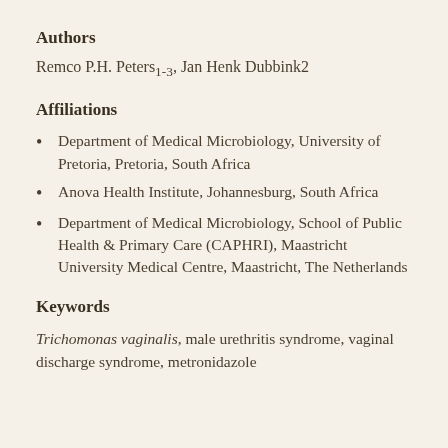Authors
Remco P.H. Peters1-3, Jan Henk Dubbink2
Affiliations
Department of Medical Microbiology, University of Pretoria, Pretoria, South Africa
Anova Health Institute, Johannesburg, South Africa
Department of Medical Microbiology, School of Public Health & Primary Care (CAPHRI), Maastricht University Medical Centre, Maastricht, The Netherlands
Keywords
Trichomonas vaginalis, male urethritis syndrome, vaginal discharge syndrome, metronidazole